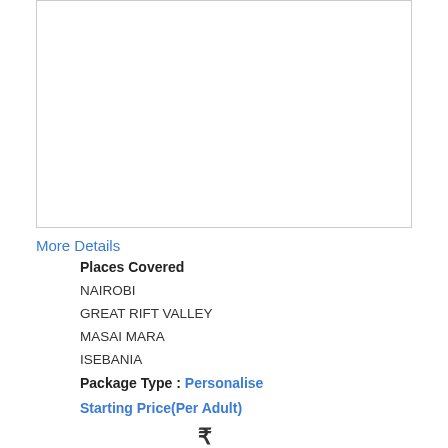[Figure (photo): Empty white image box with light gray border]
More Details
Places Covered
NAIROBI
GREAT RIFT VALLEY
MASAI MARA
ISEBANIA
Package Type : Personalise
Starting Price(Per Adult)
₹